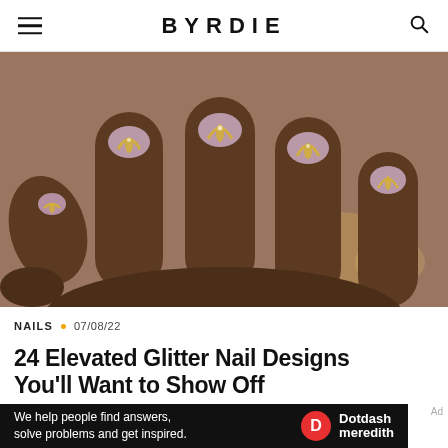BYRDIE
[Figure (photo): Close-up photo of a hand with dark skin tone showing multiple fingers with short, rounded nails painted in a sheer pink/nude color with a diagonal gold glitter stripe accent on each nail.]
NAILS • 07/08/22
24 Elevated Glitter Nail Designs You'll Want to Show Off
Ad
We help people find answers, solve problems and get inspired.  Dotdash meredith